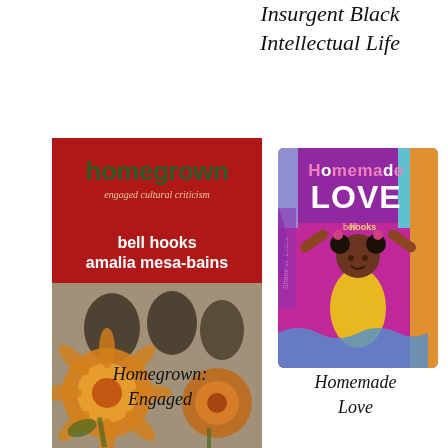Insurgent Black Intellectual Life
[Figure (illustration): Book cover of 'Homegrown: Engaged Cultural Criticism' by bell hooks and amalia mesa-bains. Red background on top half with title text in dark green and author names in white. Lower half shows black and white photo of figures with large sunflowers/dahlias.]
[Figure (illustration): Book cover of 'Homemade Love' by bell hooks. Colorful illustrated cover showing a young Black girl in a yellow dress with arms raised against a magenta/purple background with decorative wavy elements. Text 'Homemade LOVE' in pink/white letters at top. Illustrator Shane W. Evans credited on spine.]
Homemade Love
Homegrown: Engaged